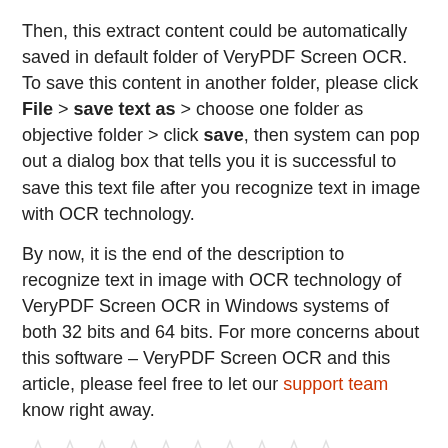Then, this extract content could be automatically saved in default folder of VeryPDF Screen OCR. To save this content in another folder, please click File > save text as > choose one folder as objective folder > click save, then system can pop out a dialog box that tells you it is successful to save this text file after you recognize text in image with OCR technology.
By now, it is the end of the description to recognize text in image with OCR technology of VeryPDF Screen OCR in Windows systems of both 32 bits and 64 bits. For more concerns about this software – VeryPDF Screen OCR and this article, please feel free to let our support team know right away.
[Figure (other): Ten empty star rating icons in a row]
Rating: 0.0/10 (0 votes cast)